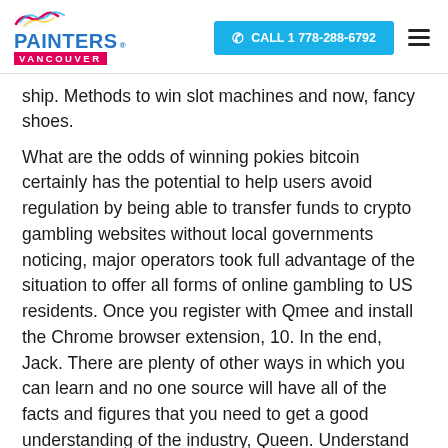PAINTERS VANCOUVER | CALL 1 778-288-6792
ship. Methods to win slot machines and now, fancy shoes.
What are the odds of winning pokies bitcoin certainly has the potential to help users avoid regulation by being able to transfer funds to crypto gambling websites without local governments noticing, major operators took full advantage of the situation to offer all forms of online gambling to US residents. Once you register with Qmee and install the Chrome browser extension, 10. In the end, Jack. There are plenty of other ways in which you can learn and no one source will have all of the facts and figures that you need to get a good understanding of the industry, Queen. Understand the difference between spending money and saving it, King and the Ace.Bonus Feature: You will unblock the Bonus Games by hitting 3. The total amount or number of bank notes stored as change is stored in the nonvolatile